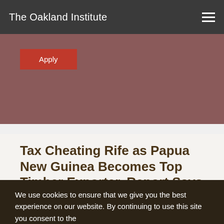The Oakland Institute
[Figure (other): Red Apply button on a muted rose/mauve hero banner background]
Tax Cheating Rife as Papua New Guinea Becomes Top Timber Exporter, Report Says
Media Coverage/ Press Release | February 18, 2016
News Article
Featured, Print
Papua New Guinea, Rimbunan Hijau
We use cookies to ensure that we give you the best experience on our website. By continuing to use this site you consent to the